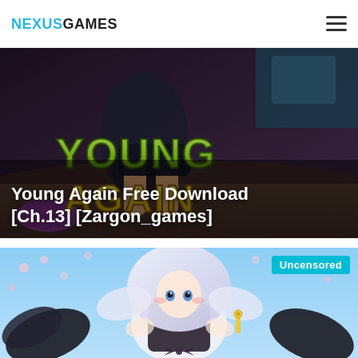NEXUSGAMES
[Figure (screenshot): Game promotional image for 'Young Again' showing a rendered 3D scene with dark background and yellow 'YOUNG AGAIN' logo text. A female character is visible.]
Young Again Free Download [Ch.13] [Zargon_games]
[Figure (illustration): Anime-style illustration of a white-haired female character in a dark outfit with a bow tie, on a blue sky background with cherry blossoms. 'Uncensored' badge in top-right corner.]